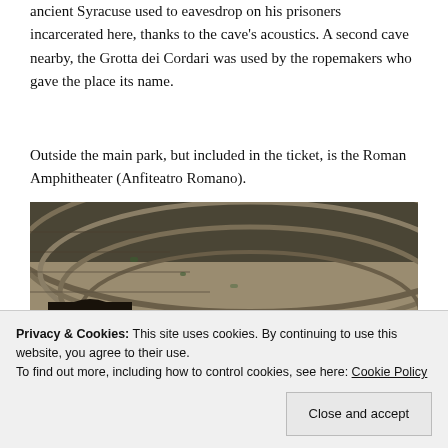ancient Syracuse used to eavesdrop on his prisoners incarcerated here, thanks to the cave's acoustics. A second cave nearby, the Grotta dei Cordari was used by the ropemakers who gave the place its name.
Outside the main park, but included in the ticket, is the Roman Amphitheater (Anfiteatro Romano).
[Figure (photo): Aerial/elevated view of the Roman Amphitheater (Anfiteatro Romano) in Syracuse, showing stone seating rows curving around a sandy arena floor, with a dark tunnel entrance on the left side.]
Privacy & Cookies: This site uses cookies. By continuing to use this website, you agree to their use.
To find out more, including how to control cookies, see here: Cookie Policy
Close and accept